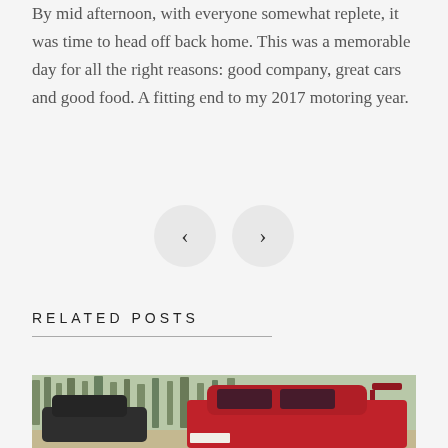By mid afternoon, with everyone somewhat replete, it was time to head off back home. This was a memorable day for all the right reasons: good company, great cars and good food. A fitting end to my 2017 motoring year.
[Figure (other): Navigation previous and next buttons: two circular grey buttons with left and right chevron arrows]
RELATED POSTS
[Figure (photo): Photograph of a red sports sedan (likely a Mitsubishi Lancer Evolution) parked in a woodland area with a dark grey sports car (likely a Lotus Exige) visible in the background to the left.]